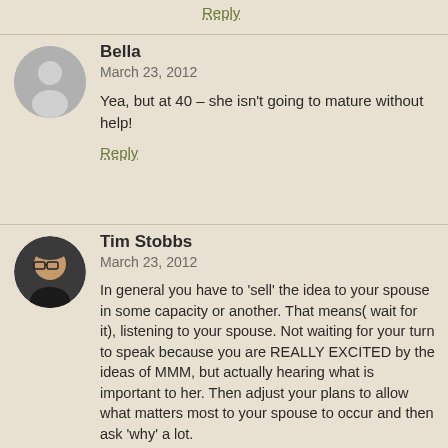Reply
Bella
March 23, 2012
Yea, but at 40 – she isn't going to mature without help!
Reply
Tim Stobbs
March 23, 2012
In general you have to 'sell' the idea to your spouse in some capacity or another. That means( wait for it), listening to your spouse. Not waiting for your turn to speak because you are REALLY EXCITED by the ideas of MMM, but actually hearing what is important to her. Then adjust your plans to allow what matters most to your spouse to occur and then ask 'why' a lot.

It took my spouse a few years to realize she was buying more scrap book paper than she used in a year. So now she has stopped and I didn't say a thing because it was HER SPENDING MONEY. You can't tell your spouse what to do, she has to want to do it herself. It's painful to